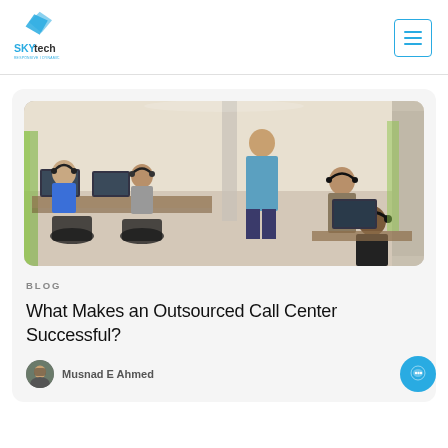[Figure (logo): SKYtech logo with blue diamond/kite shape and text 'SKYtech']
[Figure (other): Hamburger menu icon in a square with blue border]
[Figure (photo): Call center office photo: multiple agents sitting at workstations with headsets and computers, one person standing in background]
BLOG
What Makes an Outsourced Call Center Successful?
[Figure (photo): Author avatar photo of Musnad E Ahmed]
Musnad E Ahmed
[Figure (other): Blue circular chat/support button in bottom right corner]